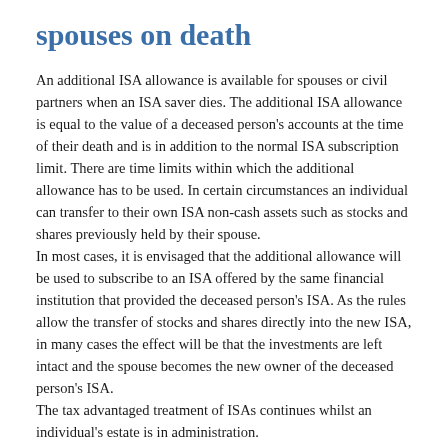spouses on death
An additional ISA allowance is available for spouses or civil partners when an ISA saver dies. The additional ISA allowance is equal to the value of a deceased person's accounts at the time of their death and is in addition to the normal ISA subscription limit. There are time limits within which the additional allowance has to be used. In certain circumstances an individual can transfer to their own ISA non-cash assets such as stocks and shares previously held by their spouse.
In most cases, it is envisaged that the additional allowance will be used to subscribe to an ISA offered by the same financial institution that provided the deceased person's ISA. As the rules allow the transfer of stocks and shares directly into the new ISA, in many cases the effect will be that the investments are left intact and the spouse becomes the new owner of the deceased person's ISA.
The tax advantaged treatment of ISAs continues whilst an individual's estate is in administration.